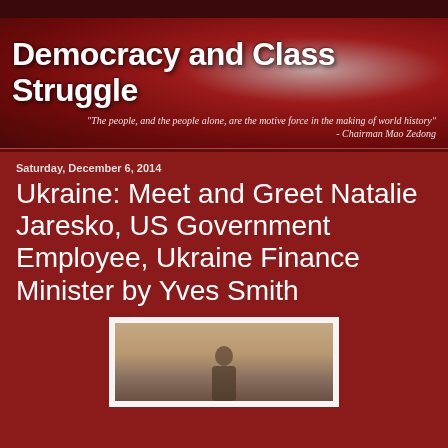Democracy and Class Struggle
"The people, and the people alone, are the motive force in the making of world history" - Chairman Mao Zedong
Saturday, December 6, 2014
Ukraine: Meet and Greet Natalie Jaresko, US Government Employee, Ukraine Finance Minister by Yves Smith
[Figure (photo): Photo of a person, partially visible, against a wooden background]